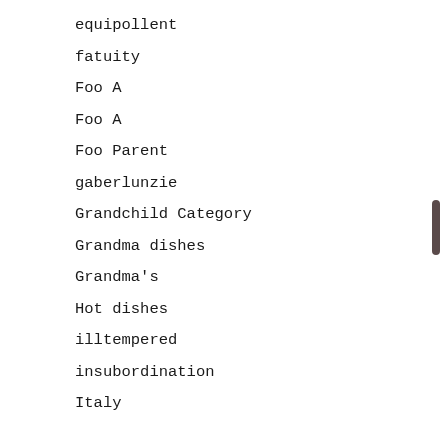equipollent
fatuity
Foo A
Foo A
Foo Parent
gaberlunzie
Grandchild Category
Grandma dishes
Grandma's
Hot dishes
illtempered
insubordination
Italy